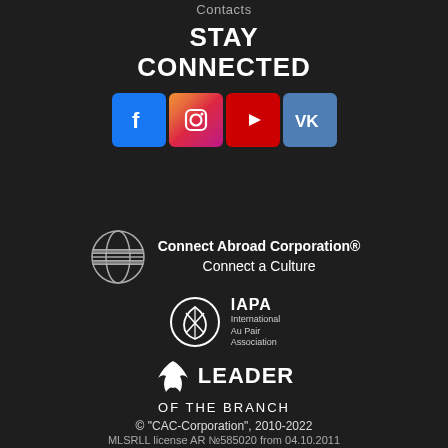Contacts
STAY CONNECTED
[Figure (logo): Social media icons: Facebook, Instagram, YouTube, VK]
[Figure (logo): Connect Abroad Corporation globe logo with text: Connect Abroad Corporation® Connect a Culture]
[Figure (logo): IAPA International Au Pair Association logo with circular emblem]
[Figure (logo): Leader of the Branch logo with eagle and text LEADER OF THE BRANCH]
© "CAC-Corporation", 2010-2022
MLSRLL license AR №585020 from 04.10.2011